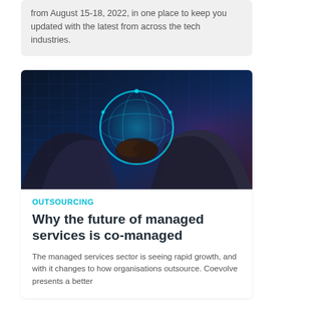from August 15-18, 2022, in one place to keep you updated with the latest from across the tech industries.
[Figure (photo): Two people in business suits doing a handshake with a glowing blue digital globe between their hands, against a dark blue digital/tech background with pink hue on one side.]
OUTSOURCING
Why the future of managed services is co-managed
The managed services sector is seeing rapid growth, and with it changes to how organisations outsource. Coevolve presents a better